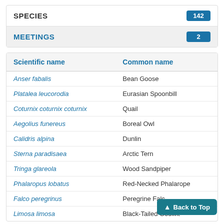SPECIES 142
MEETINGS 2
| Scientific name | Common name |
| --- | --- |
| Anser fabalis | Bean Goose |
| Platalea leucorodia | Eurasian Spoonbill |
| Coturnix coturnix coturnix | Quail |
| Aegolius funereus | Boreal Owl |
| Calidris alpina | Dunlin |
| Sterna paradisaea | Arctic Tern |
| Tringa glareola | Wood Sandpiper |
| Phalaropus lobatus | Red-Necked Phalarope |
| Falco peregrinus | Peregrine Falco... |
| Limosa limosa | Black-Tailed Godwit |
Back to Top